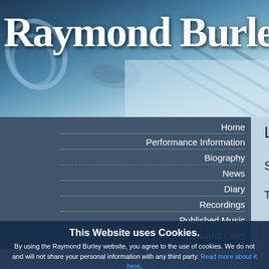[Figure (photo): Website header with footprints in snow/sand background with blue-grey tones]
Raymond Burle
Home
Performance Information
Biography
News
Diary
Recordings
Published Music
Tips And Links
Latest News
Salvador and Burley
Thursday, July 25, 2013
[Figure (screenshot): Quote box with text about Emanuel Salvador, one of the finest Portuguese violinists of his generation, Hazel Davies, Strad magazine]
This Website uses Cookies.
By using the Raymond Burley website, you agree to the use of cookies. We do not and will not share your personal information with any third party. Read more about it here.
Okay